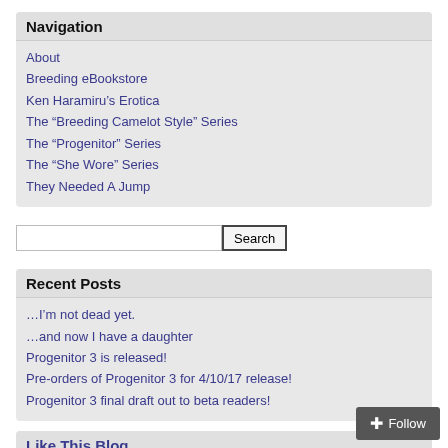Navigation
About
Breeding eBookstore
Ken Haramiru's Erotica
The “Breeding Camelot Style” Series
The “Progenitor” Series
The “She Wore” Series
They Needed A Jump
Recent Posts
…I’m not dead yet.
…and now I have a daughter
Progenitor 3 is released!
Pre-orders of Progenitor 3 for 4/10/17 release!
Progenitor 3 final draft out to beta readers!
Like This Blog
Subscribe to Blog via Email